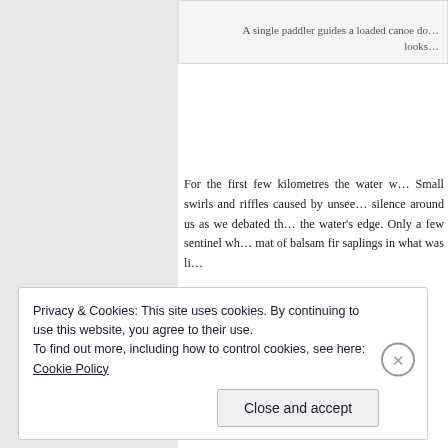[Figure (photo): Top of a photo showing a canoe on water, partially cropped]
A single paddler guides a loaded canoe do… looks…
For the first few kilometres the water w… Small swirls and riffles caused by unsee… silence around us as we debated th… the water's edge. Only a few sentinel wh… mat of balsam fir saplings in what was li…
[Figure (photo): Outdoor sky/landscape photo, pale blue-grey cloudy sky]
Privacy & Cookies: This site uses cookies. By continuing to use this website, you agree to their use.
To find out more, including how to control cookies, see here: Cookie Policy
Close and accept